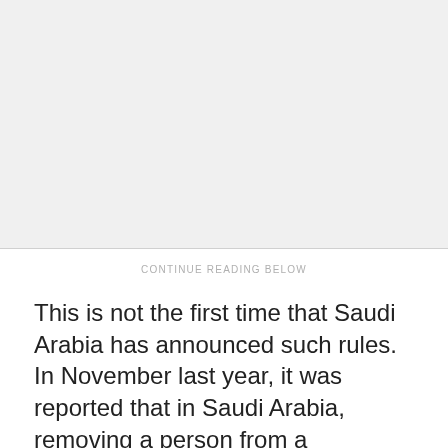[Figure (other): Advertisement placeholder area with light gray background]
CONTINUE READING BELOW
This is not the first time that Saudi Arabia has announced such rules. In November last year, it was reported that in Saudi Arabia, removing a person from a WhatsApp group could result in the person being arrested with a fine of 500,000 Saudi rivals (Rs 99,51,641).